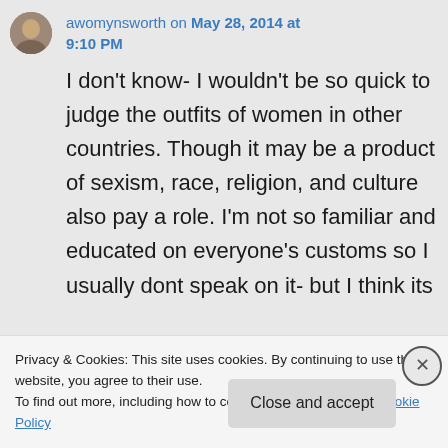awomynsworth on May 28, 2014 at 9:10 PM
I don't know- I wouldn't be so quick to judge the outfits of women in other countries. Though it may be a product of sexism, race, religion, and culture also pay a role. I'm not so familiar and educated on everyone's customs so I usually dont speak on it- but I think its
Privacy & Cookies: This site uses cookies. By continuing to use this website, you agree to their use. To find out more, including how to control cookies, see here: Cookie Policy